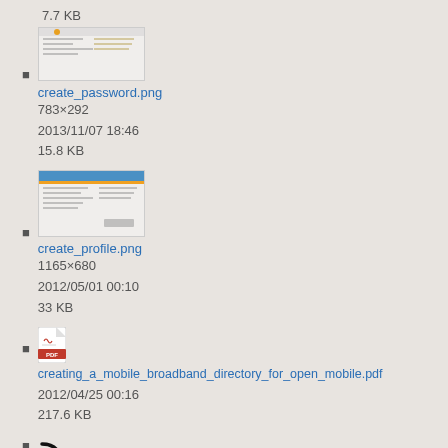7.7 KB
[Figure (screenshot): Thumbnail of create_password.png showing a form interface]
create_password.png
783×292
2013/11/07 18:46
15.8 KB
[Figure (screenshot): Thumbnail of create_profile.png showing a form with blue header]
create_profile.png
1165×680
2012/05/01 00:10
33 KB
[Figure (other): PDF file icon]
creating_a_mobile_broadband_directory_for_open_mobile.pdf
2012/04/25 00:16
217.6 KB
[Figure (other): RSS feed icon]